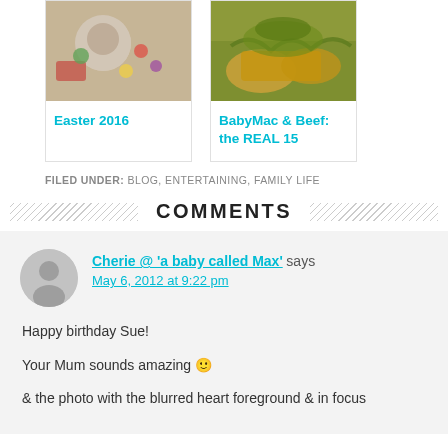[Figure (photo): Top-down photo of a baby with Easter eggs]
Easter 2016
[Figure (photo): Close-up photo of tacos with herbs and vegetables]
BabyMac & Beef: the REAL 15
FILED UNDER: BLOG, ENTERTAINING, FAMILY LIFE
COMMENTS
Cherie @ 'a baby called Max' says
May 6, 2012 at 9:22 pm
Happy birthday Sue!
Your Mum sounds amazing 🙂
& the photo with the blurred heart foreground & in focus